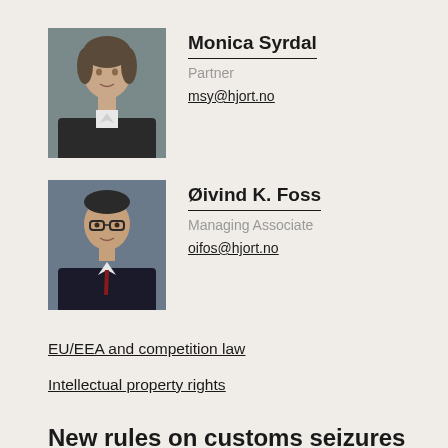[Figure (photo): Portrait photo of Monica Syrdal, a woman with short hair wearing a dark jacket]
Monica Syrdal
Partner
msy@hjort.no
[Figure (photo): Portrait photo of Øivind K. Foss, a man wearing glasses and a dark suit with red tie]
Øivind K. Foss
Managing Associate
oifos@hjort.no
EU/EEA and competition law
Intellectual property rights
New rules on customs seizures
On 18 May 2020 the Norwegian Parliament approved